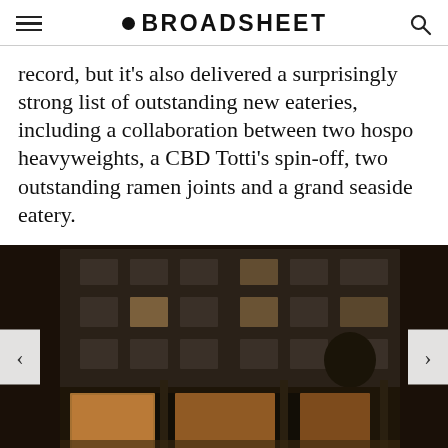BROADSHEET
record, but it's also delivered a surprisingly strong list of outstanding new eateries, including a collaboration between two hospo heavyweights, a CBD Totti's spin-off, two outstanding ramen joints and a grand seaside eatery.
[Figure (photo): Night-time exterior photograph of a multi-story building with warm-lit shopfronts and people gathered outside at ground level. Trees visible. Navigation arrows on left and right.]